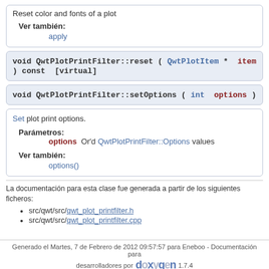Reset color and fonts of a plot
Ver también:
apply
void QwtPlotPrintFilter::reset ( QwtPlotItem * item ) const [virtual]
void QwtPlotPrintFilter::setOptions ( int options )
Set plot print options.
Parámetros:
options  Or'd QwtPlotPrintFilter::Options values
Ver también:
options()
La documentación para esta clase fue generada a partir de los siguientes ficheros:
src/qwt/src/qwt_plot_printfilter.h
src/qwt/src/qwt_plot_printfilter.cpp
Generado el Martes, 7 de Febrero de 2012 09:57:57 para Eneboo - Documentación para desarrolladores por doxygen 1.7.4